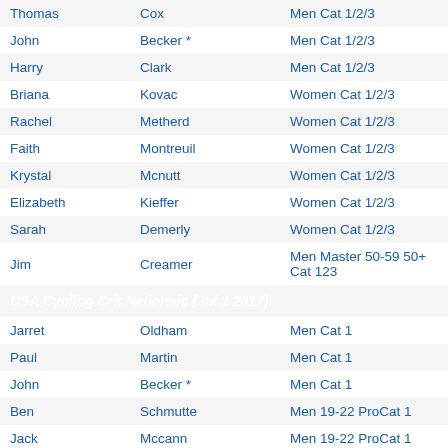| First Name | Last Name | Category |
| --- | --- | --- |
| Thomas | Cox | Men Cat 1/2/3 |
| John | Becker * | Men Cat 1/2/3 |
| Harry | Clark | Men Cat 1/2/3 |
| Briana | Kovac | Women Cat 1/2/3 |
| Rachel | Metherd | Women Cat 1/2/3 |
| Faith | Montreuil | Women Cat 1/2/3 |
| Krystal | Mcnutt | Women Cat 1/2/3 |
| Elizabeth | Kieffer | Women Cat 1/2/3 |
| Sarah | Demerly | Women Cat 1/2/3 |
| Jim | Creamer | Men Master 50-59 50+ Cat 123 |
| USA Cycling Crit Nationals (Jul 2 2017) |  |  |
| Jarret | Oldham | Men Cat 1 |
| Paul | Martin | Men Cat 1 |
| John | Becker * | Men Cat 1 |
| Ben | Schmutte | Men 19-22 ProCat 1 |
| Jack | Mccann | Men 19-22 ProCat 1 |
| Robert | Sroka | Men 19-22 ProCat 1 |